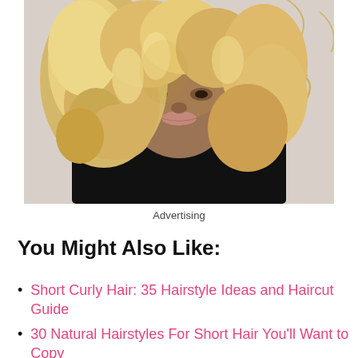[Figure (photo): A woman with voluminous blonde curly hair wearing a black turtleneck sweater, photographed from the shoulders up against a white background with decorative gold swirl pattern.]
Advertising
You Might Also Like:
Short Curly Hair: 35 Hairstyle Ideas and Haircut Guide
30 Natural Hairstyles For Short Hair You'll Want to Copy